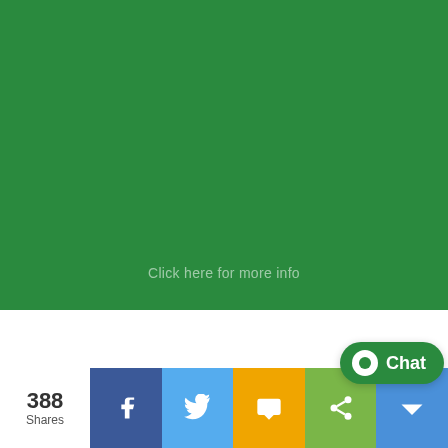[Figure (other): Green banner background covering the top portion of the page]
Click here for more info
Copyright © 2022 Partygrenada.com - All rights reserved.
Website Design & Development by Protonic Solutions
388 Shares
[Figure (other): Social sharing buttons: Facebook (blue), Twitter (light blue), SMS (yellow/orange), Share (green), More (blue). Chat bubble widget in bottom right.]